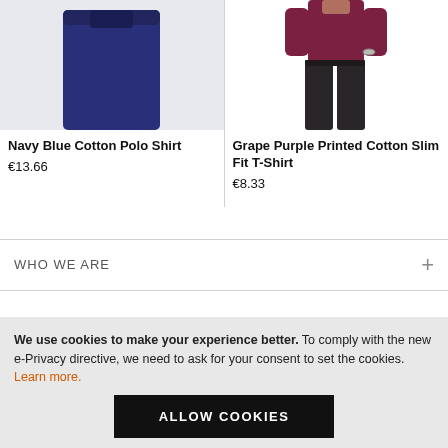[Figure (photo): Navy blue cotton polo shirt product image on light grey background]
[Figure (photo): Man wearing grape purple printed slim fit t-shirt with dark trousers]
Navy Blue Cotton Polo Shirt
€13.66
Grape Purple Printed Cotton Slim Fit T-Shirt
€8.33
WHO WE ARE
We use cookies to make your experience better. To comply with the new e-Privacy directive, we need to ask for your consent to set the cookies. Learn more.